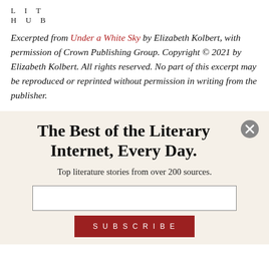LIT
HUB
Excerpted from Under a White Sky by Elizabeth Kolbert, with permission of Crown Publishing Group. Copyright © 2021 by Elizabeth Kolbert. All rights reserved. No part of this excerpt may be reproduced or reprinted without permission in writing from the publisher.
The Best of the Literary Internet, Every Day.
Top literature stories from over 200 sources.
SUBSCRIBE